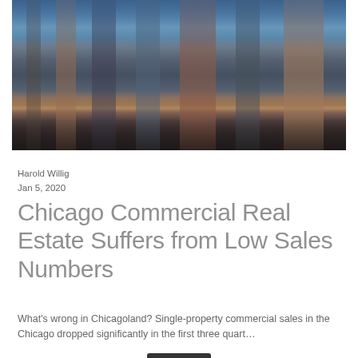[Figure (photo): Aerial view of Chicago skyline with skyscrapers at dusk/twilight, colorful buildings including orange and blue toned towers against a blue sky]
Harold Willig
Jan 5, 2020
Chicago Commercial Real Estate Suffers from Low Sales Numbers
What's wrong in Chicagoland? Single-property commercial sales in the Chicago dropped significantly in the first three quart…